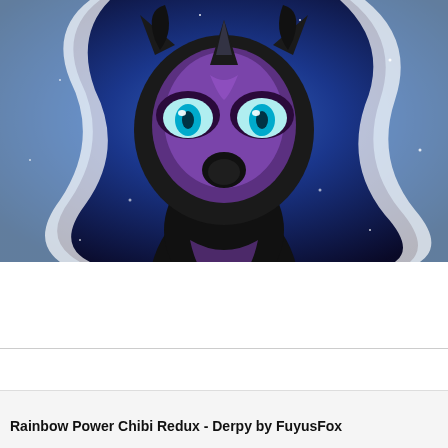[Figure (illustration): Digital fan art illustration of a dark pony character (Nightmare Moon style) with black body, purple face markings, teal glowing eyes, and a horn, set against a glowing blue cosmic/starry background with a white glowing mane outline.]
[12] Source
Rainbow Power Chibi Redux - Derpy by FuyusFox